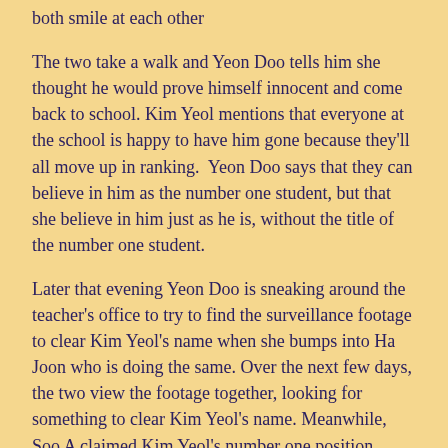both smile at each other
The two take a walk and Yeon Doo tells him she thought he would prove himself innocent and come back to school. Kim Yeol mentions that everyone at the school is happy to have him gone because they'll all move up in ranking. Yeon Doo says that they can believe in him as the number one student, but that she believe in him just as he is, without the title of the number one student.
Later that evening Yeon Doo is sneaking around the teacher's office to try to find the surveillance footage to clear Kim Yeol's name when she bumps into Ha Joon who is doing the same. Over the next few days, the two view the footage together, looking for something to clear Kim Yeol's name. Meanwhile, Soo A claimed Kim Yeol's number one position when the results of the mid-terms come out. To reward her, Soo A's mother buys her a very expensive purse that she shows off to her roommates.